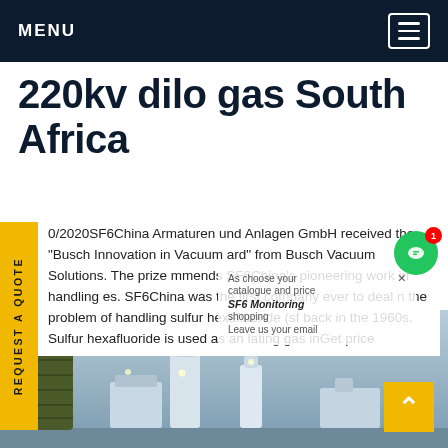MENU
220kv dilo gas South Africa
0/2020SF6China Armaturen und Anlagen GmbH received the "Busch Innovation in Vacuum ard" from Busch Vacuum Solutions. The prize mmends SF6China's pioneering work in handling es. SF6China was the first company ever to deal n the problem of handling sulfur hexafluoride (sf back in the 1960s. Sulfur hexafluoride is used as an lating gas inGet price
[Figure (screenshot): Popup overlay showing catalogue and price, SF6 shopping, Leave us your email fields with close button]
[Figure (photo): Industrial SF6 gas handling equipment, tanks and machinery in a facility, blue-toned background]